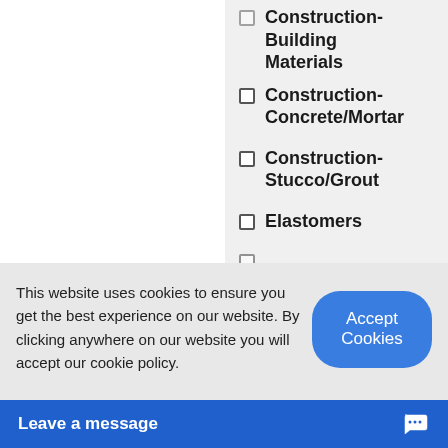Construction-Building Materials
Construction-Concrete/Mortar
Construction-Stucco/Grout
Elastomers
This website uses cookies to ensure you get the best experience on our website. By clicking anywhere on our website you will accept our cookie policy.
Accept Cookies
Leave a message